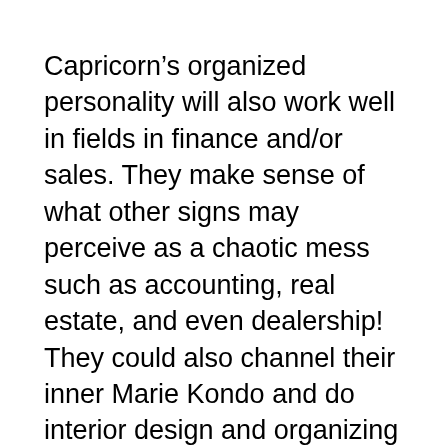Capricorn's organized personality will also work well in fields in finance and/or sales. They make sense of what other signs may perceive as a chaotic mess such as accounting, real estate, and even dealership! They could also channel their inner Marie Kondo and do interior design and organizing a career. They would also do well as supervisors and managers.
Lastly, a Capricorn's calm and patient self would withstand jobs that many see as too stressful. They would do well as teachers, scientists, and directors of any kind. Handling rowdy kids, waiting out for an experiment's success, trying to see if a project pitch appeals to the masses, indeed, patience is a